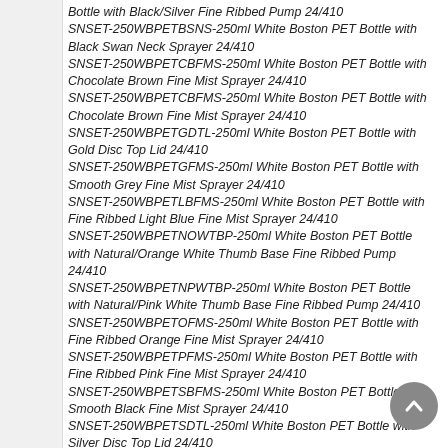Bottle with Black/Silver Fine Ribbed Pump 24/410
SNSET-250WBPETBSNS-250ml White Boston PET Bottle with Black Swan Neck Sprayer 24/410
SNSET-250WBPETCBFMS-250ml White Boston PET Bottle with Chocolate Brown Fine Mist Sprayer 24/410
SNSET-250WBPETCBFMS-250ml White Boston PET Bottle with Chocolate Brown Fine Mist Sprayer 24/410
SNSET-250WBPETGDTL-250ml White Boston PET Bottle with Gold Disc Top Lid 24/410
SNSET-250WBPETGFMS-250ml White Boston PET Bottle with Smooth Grey Fine Mist Sprayer 24/410
SNSET-250WBPETLBFMS-250ml White Boston PET Bottle with Fine Ribbed Light Blue Fine Mist Sprayer 24/410
SNSET-250WBPETNOWTBP-250ml White Boston PET Bottle with Natural/Orange White Thumb Base Fine Ribbed Pump 24/410
SNSET-250WBPETNPWTBP-250ml White Boston PET Bottle with Natural/Pink White Thumb Base Fine Ribbed Pump 24/410
SNSET-250WBPETOFMS-250ml White Boston PET Bottle with Fine Ribbed Orange Fine Mist Sprayer 24/410
SNSET-250WBPETPFMS-250ml White Boston PET Bottle with Fine Ribbed Pink Fine Mist Sprayer 24/410
SNSET-250WBPETSBFMS-250ml White Boston PET Bottle with Smooth Black Fine Mist Sprayer 24/410
SNSET-250WBPETSDTL-250ml White Boston PET Bottle with Silver Disc Top Lid 24/410
SNSET-250WBPETSFMS-250ml White Boston PET Bottle with Fine Ribbed Silver Fine Mist Sprayer 24/410
SNSET-250WBPETSGFMS-250ml White Boston PET Bottle with Smooth Gold Fine Mist Sprayer 24/410